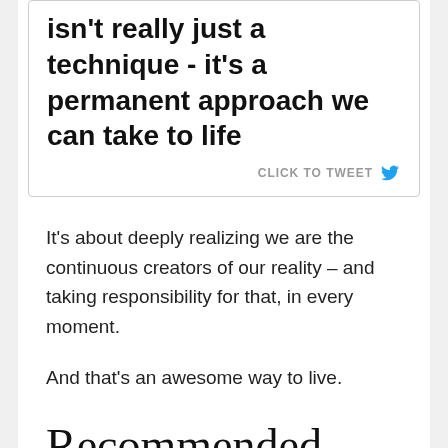isn't really just a technique - it's a permanent approach we can take to life
CLICK TO TWEET
It's about deeply realizing we are the continuous creators of our reality – and taking responsibility for that, in every moment.
And that's an awesome way to live.
Recommended